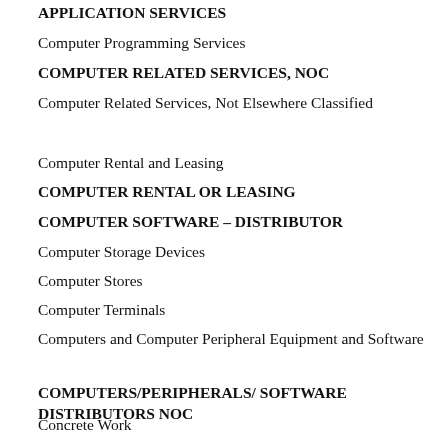APPLICATION SERVICES
Computer Programming Services
COMPUTER RELATED SERVICES, NOC
Computer Related Services, Not Elsewhere Classified
Computer Rental and Leasing
COMPUTER RENTAL OR LEASING
COMPUTER SOFTWARE – DISTRIBUTOR
Computer Storage Devices
Computer Stores
Computer Terminals
Computers and Computer Peripheral Equipment and Software
COMPUTERS/PERIPHERALS/ SOFTWARE DISTRIBUTORS NOC
Concrete Work
CONDOMINIUM ASSOCIATIONS